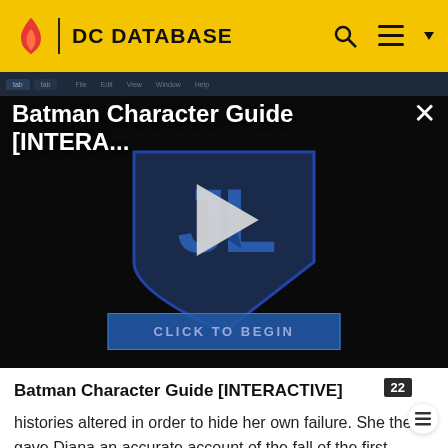DC DATABASE
[Figure (screenshot): Batman Character Guide [INTERACTIVE] video thumbnail with Justice League logo and play button on dark background, 'CLICK TO BEGIN' button at bottom]
Batman Character Guide [INTERACTIVE]
histories altered in order to hide her own failure. She then gave Diana an accurate account of the fall of the first Themiscyra to Hercules and Theseus, and the death of